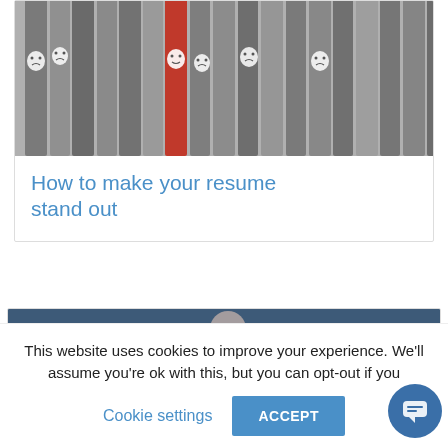[Figure (photo): Black and white pencils with sad cartoon faces and one red pencil standing out among them]
How to make your resume stand out
[Figure (photo): Person in white shirt, partial view, dark blue background]
This website uses cookies to improve your experience. We'll assume you're ok with this, but you can opt-out if you
Cookie settings
ACCEPT